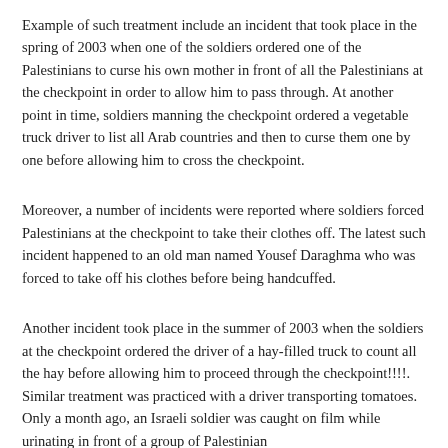Example of such treatment include an incident that took place in the spring of 2003 when one of the soldiers ordered one of the Palestinians to curse his own mother in front of all the Palestinians at the checkpoint in order to allow him to pass through. At another point in time, soldiers manning the checkpoint ordered a vegetable truck driver to list all Arab countries and then to curse them one by one before allowing him to cross the checkpoint.
Moreover, a number of incidents were reported where soldiers forced Palestinians at the checkpoint to take their clothes off. The latest such incident happened to an old man named Yousef Daraghma who was forced to take off his clothes before being handcuffed.
Another incident took place in the summer of 2003 when the soldiers at the checkpoint ordered the driver of a hay-filled truck to count all the hay before allowing him to proceed through the checkpoint!!!!. Similar treatment was practiced with a driver transporting tomatoes.  Only a month ago, an Israeli soldier was caught on film while urinating in front of a group of Palestinian